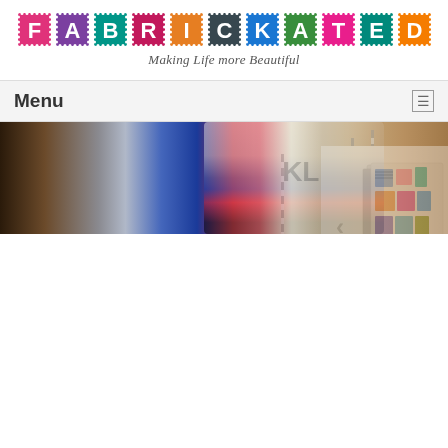[Figure (logo): FABRICKATED logo with colorful postage stamp style tiles, each letter in a separate colored tile (pink, purple, teal, magenta, orange, dark gray, blue, green, pink, teal, orange), below tagline 'Making Life more Beautiful']
Making Life more Beautiful
Menu
[Figure (photo): Photo of a clothing mannequin with colorful fabric/garments including blue, white, red colors; a wooden shelf with spools/bobbins visible on the right]
[Figure (photo): Book cover for 'Making life more beautiful' showing illustrated clothing items (shirts, sweaters, pants, accessories) with a 3D perspective, alongside large blue text 'Making life more beautiful' and a blue 'BUY NOW' button; navigation arrows on each side and two pagination dots at bottom]